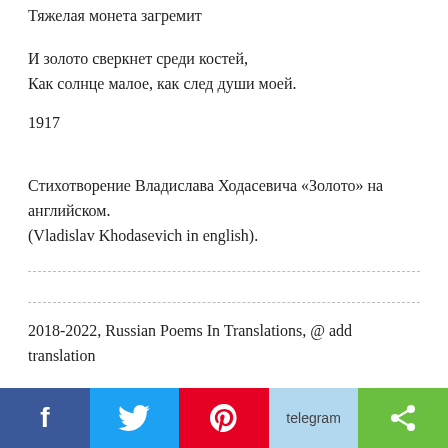Тяжелая монета загремит
И золото сверкнет среди костей,
Как солнце малое, как след души моей.
1917
Стихотворение Владислава Ходасевича «Золото» на английском.
(Vladislav Khodasevich in english).
2018-2022, Russian Poems In Translations, @ add translation